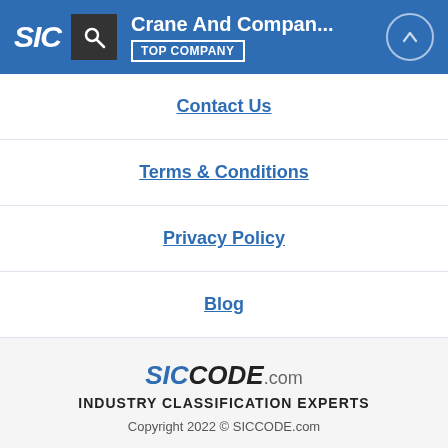Crane And Compan... TOP COMPANY
Contact Us
Terms & Conditions
Privacy Policy
Blog
SICCODE.com INDUSTRY CLASSIFICATION EXPERTS Copyright 2022 © SICCODE.com